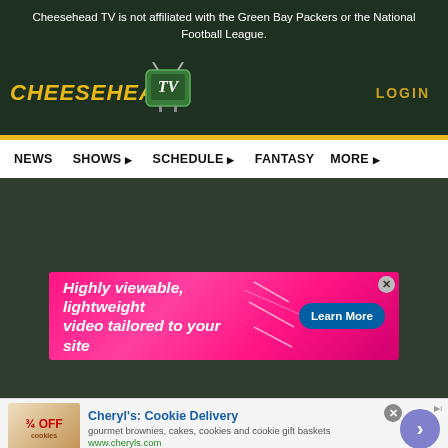Cheesehead TV is not affiliated with the Green Bay Packers or the National Football League.
[Figure (logo): Cheesehead TV logo with yellow stylized text and a green TV icon]
LOGIN
[Figure (screenshot): Navigation bar with menu items: NEWS, SHOWS, SCHEDULE, FANTASY, MORE]
[Figure (infographic): Dark green main content area with a pink/magenta advertisement banner reading 'Highly viewable, lightweight video tailored to your site' with a 'Learn More' button]
[Figure (infographic): Bottom advertisement for Cheryl's: Cookie Delivery showing 'gourmet brownies, cakes, cookies and cookie gift baskets' and 'www.cheryls.com']